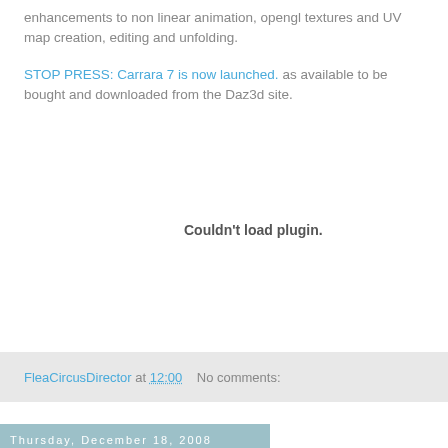enhancements to non linear animation, opengl textures and UV map creation, editing and unfolding.
STOP PRESS: Carrara 7 is now launched. as available to be bought and downloaded from the Daz3d site.
[Figure (other): Couldn't load plugin. placeholder area for an embedded plugin/video]
FleaCircusDirector at 12:00   No comments:
Thursday, December 18, 2008